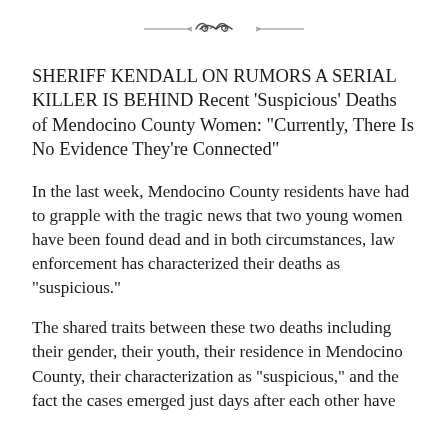[Figure (illustration): Decorative ornamental divider with swirl/scroll design]
SHERIFF KENDALL ON RUMORS A SERIAL KILLER IS BEHIND Recent ‘Suspicious’ Deaths of Mendocino County Women: “Currently, There Is No Evidence They’re Connected”
In the last week, Mendocino County residents have had to grapple with the tragic news that two young women have been found dead and in both circumstances, law enforcement has characterized their deaths as “suspicious.”
The shared traits between these two deaths including their gender, their youth, their residence in Mendocino County, their characterization as “suspicious,” and the fact the cases emerged just days after each other have